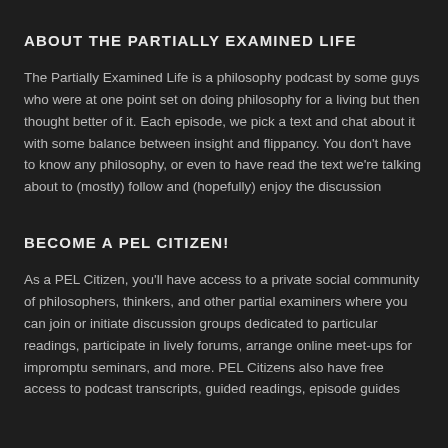ABOUT THE PARTIALLY EXAMINED LIFE
The Partially Examined Life is a philosophy podcast by some guys who were at one point set on doing philosophy for a living but then thought better of it. Each episode, we pick a text and chat about it with some balance between insight and flippancy. You don't have to know any philosophy, or even to have read the text we're talking about to (mostly) follow and (hopefully) enjoy the discussion
BECOME A PEL CITIZEN!
As a PEL Citizen, you'll have access to a private social community of philosophers, thinkers, and other partial examiners where you can join or initiate discussion groups dedicated to particular readings, participate in lively forums, arrange online meet-ups for impromptu seminars, and more. PEL Citizens also have free access to podcast transcripts, guided readings, episode guides